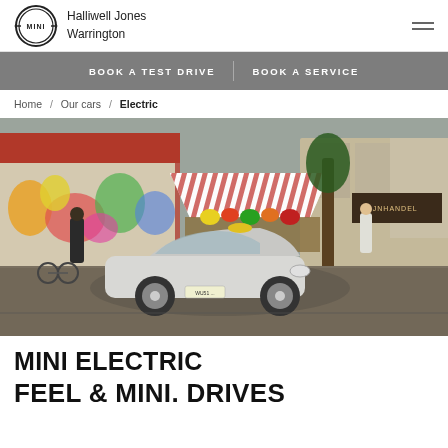Halliwell Jones Warrington
BOOK A TEST DRIVE  |  BOOK A SERVICE
Home / Our cars / Electric
[Figure (photo): A white MINI Electric car parked on a cobblestone street in front of a fruit market with colourful graffiti mural on the wall. A man stands in the background. A tree and a building labeled WIJNHANDEL are visible in the background.]
MINI ELECTRIC
FEEL & MINI. DRIVES